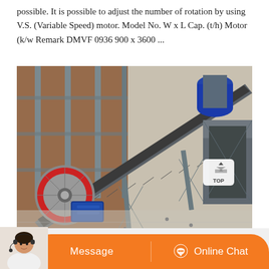possible. It is possible to adjust the number of rotation by using V.S. (Variable Speed) motor. Model No. W x L Cap. (t/h) Motor (k/w Remark DMVF 0936 900 x 3600 ...
[Figure (photo): Aerial/overhead view of an industrial conveyor belt system installed in what appears to be a mining or crushing plant. The conveyor belt runs diagonally from lower-left to upper-right. A large red and grey flywheel/pulley is visible at the lower left, connected to a blue electric motor. Metal framework supports the conveyor. Additional industrial machinery is visible at the upper right, including a cylindrical drum and a metal hopper structure. A 'TOP' navigation button is visible in the lower-right corner of the image overlay.]
Message
Online Chat